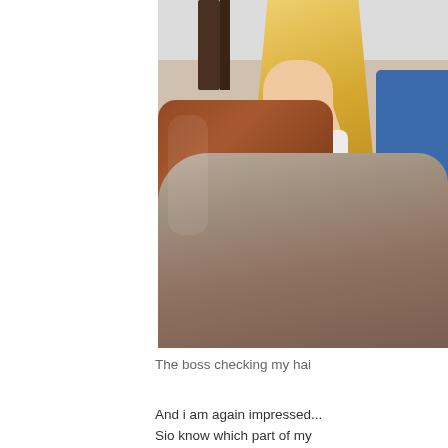[Figure (photo): Photo showing a blonde-haired person sitting in a brown leather salon chair, wearing a white top with a blue garment visible, and a taupe/brown towel or cape draped over the lap. A dark wooden cabinet is visible in the background.]
The boss checking my hai...
And i am again impressed... Sio know which part of my hair salon, and then some...